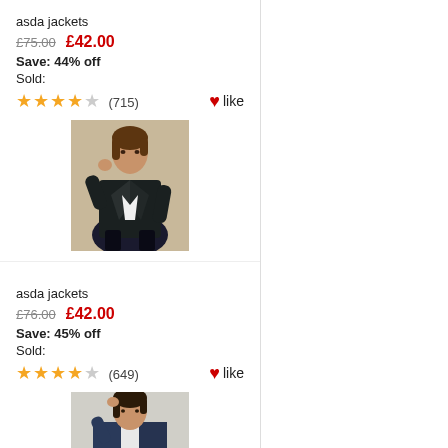asda jackets
£75.00  £42.00
Save: 44% off
Sold:
★★★★☆ (715)  ♥like
[Figure (photo): Woman wearing a black leather biker jacket over white shirt with dark trousers]
asda jackets
£76.00  £42.00
Save: 45% off
Sold:
★★★★☆ (649)  ♥like
[Figure (photo): Woman wearing a navy blue cardigan/jacket over white top]